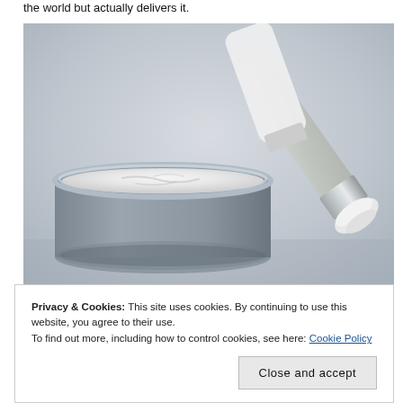the world but actually delivers it.
[Figure (photo): Open jar of white face cream with a makeup brush/applicator resting across the top, on a grey background]
Privacy & Cookies: This site uses cookies. By continuing to use this website, you agree to their use.
To find out more, including how to control cookies, see here: Cookie Policy

Close and accept